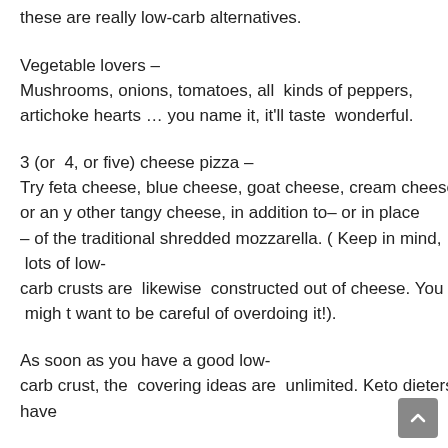these are  really  low-carb  alternatives.
Vegetable lovers –
Mushrooms, onions, tomatoes, all  kinds of peppers, artichoke hearts … you name it, it'll taste  wonderful.
3 (or  4, or five) cheese pizza –
Try feta cheese, blue cheese, goat cheese, cream cheese or any other tangy cheese, in addition to– or in place – of the traditional shredded mozzarella. ( Keep in mind,  lots of low-carb crusts are  likewise  constructed out of cheese. You  might want to be careful of overdoing it!).
As soon as you have a good low-carb crust, the  covering ideas are  unlimited. Keto dieters have